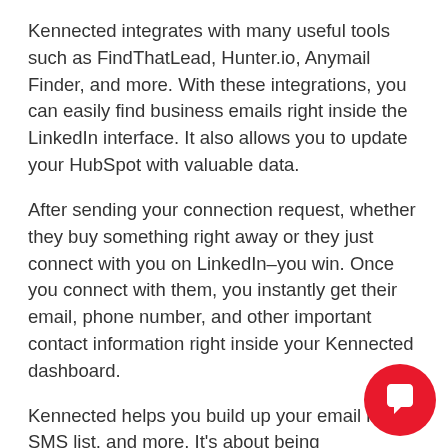Kennected integrates with many useful tools such as FindThatLead, Hunter.io, Anymail Finder, and more. With these integrations, you can easily find business emails right inside the LinkedIn interface. It also allows you to update your HubSpot with valuable data.
After sending your connection request, whether they buy something right away or they just connect with you on LinkedIn–you win. Once you connect with them, you instantly get their email, phone number, and other important contact information right inside your Kennected dashboard.
Kennected helps you build up your email list, SMS list, and more. It's about being everywhere your ideal customers are. Kennected can help you grow your business.
[Figure (other): Red circular chat bubble button with white speech bubble icon, positioned in bottom-right corner]